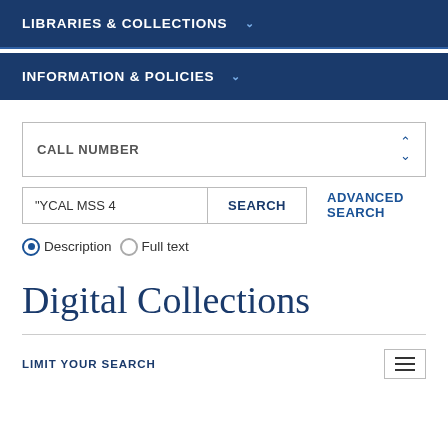LIBRARIES & COLLECTIONS
INFORMATION & POLICIES
CALL NUMBER
"YCAL MSS 4
SEARCH
ADVANCED SEARCH
Description  Full text
Digital Collections
LIMIT YOUR SEARCH